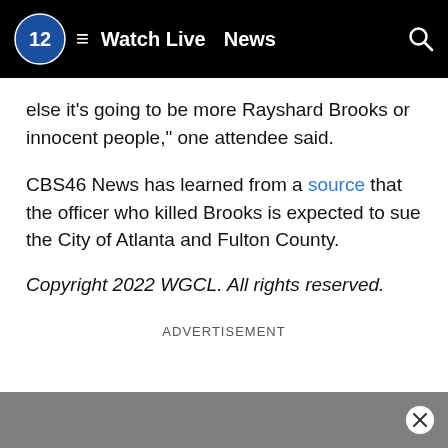Watch Live  News
else it's going to be more Rayshard Brooks or innocent people," one attendee said.
CBS46 News has learned from a source that the officer who killed Brooks is expected to sue the City of Atlanta and Fulton County.
Copyright 2022 WGCL. All rights reserved.
ADVERTISEMENT